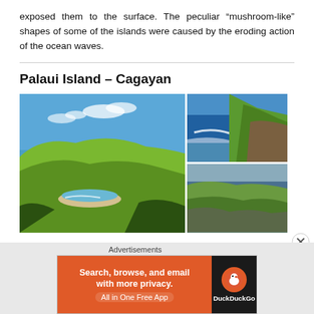exposed them to the surface. The peculiar “mushroom-like” shapes of some of the islands were caused by the eroding action of the ocean waves.
Palaui Island – Cagayan
[Figure (photo): Composite of three photos of Palaui Island, Cagayan: large left image showing green hillside with sandy beach cove and blue ocean, top-right image showing rocky coastline with crashing waves from aerial view, bottom-right image showing rocky cliffs with ocean waves.]
Advertisements
[Figure (other): DuckDuckGo advertisement banner: orange left panel reading 'Search, browse, and email with more privacy. All in One Free App', dark right panel with DuckDuckGo logo.]